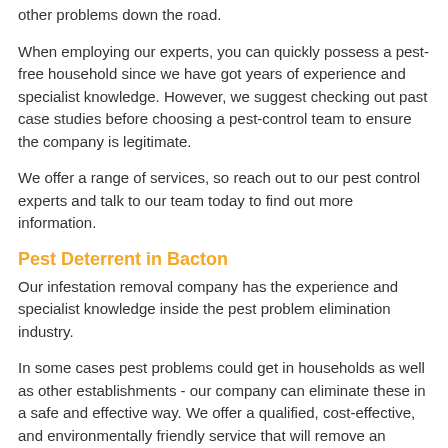other problems down the road.
When employing our experts, you can quickly possess a pest-free household since we have got years of experience and specialist knowledge. However, we suggest checking out past case studies before choosing a pest-control team to ensure the company is legitimate.
We offer a range of services, so reach out to our pest control experts and talk to our team today to find out more information.
Pest Deterrent in Bacton
Our infestation removal company has the experience and specialist knowledge inside the pest problem elimination industry.
In some cases pest problems could get in households as well as other establishments - our company can eliminate these in a safe and effective way. We offer a qualified, cost-effective, and environmentally friendly service that will remove an assortment of creatures, wild birds, and rodents.
To prevent even more issues from transpiring at your house or